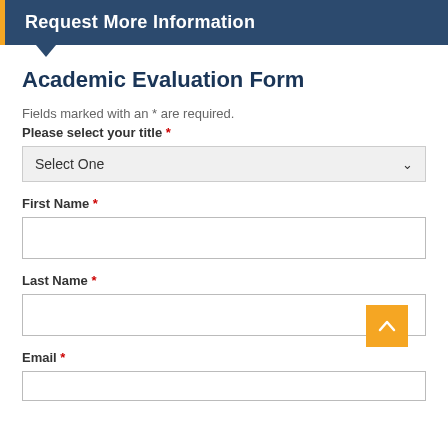Request More Information
Academic Evaluation Form
Fields marked with an * are required.
Please select your title *
[Figure (other): Dropdown select field showing 'Select One' with chevron arrow]
First Name *
[Figure (other): Empty text input box for First Name]
Last Name *
[Figure (other): Empty text input box for Last Name]
Email *